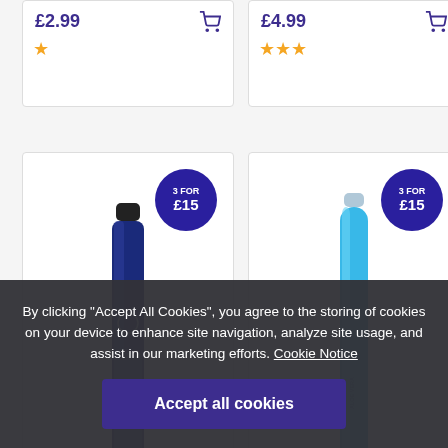£2.99
£4.99
[Figure (illustration): Blue disposable vape pen (Elf Bar style) with text 'BLUEBERRY SOUR RASPBERRY' and brand logo, with '3 FOR £15' badge]
[Figure (illustration): Cyan/light blue disposable vape pen (slim cylinder) with '3 FOR £15' badge]
By clicking "Accept All Cookies", you agree to the storing of cookies on your device to enhance site navigation, analyze site usage, and assist in our marketing efforts. Cookie Notice
Accept all cookies
Customise settings
£4.99